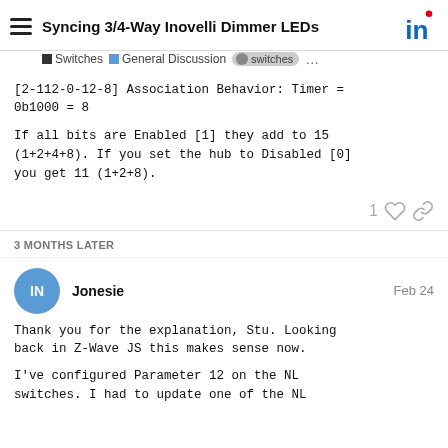Syncing 3/4-Way Inovelli Dimmer LEDs
[2-112-0-12-8] Association Behavior: Timer = 0b1000 = 8
If all bits are Enabled [1] they add to 15 (1+2+4+8). If you set the hub to Disabled [0] you get 11 (1+2+8).
3 MONTHS LATER
Jonesie  Feb 24
Thank you for the explanation, Stu. Looking back in Z-Wave JS this makes sense now.
I've configured Parameter 12 on the NL switches. I had to update one of the NL